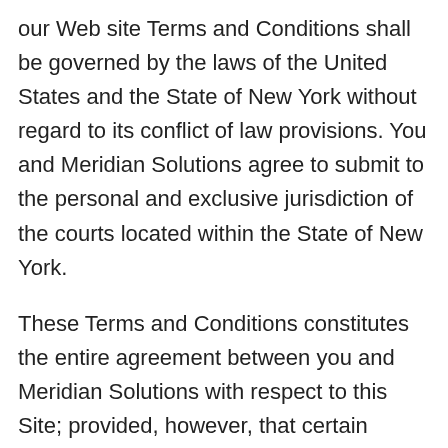our Web site Terms and Conditions shall be governed by the laws of the United States and the State of New York without regard to its conflict of law provisions. You and Meridian Solutions agree to submit to the personal and exclusive jurisdiction of the courts located within the State of New York.
These Terms and Conditions constitutes the entire agreement between you and Meridian Solutions with respect to this Site; provided, however, that certain provisions of these Terms and Conditions may be superseded by expressly designated legal notices or terms which may be located on particular pages on the Site. Our failure to exercise or enforce any right or provision of these Terms and Conditions shall not constitute a waiver of such right or provision by us. If any provision of these Terms